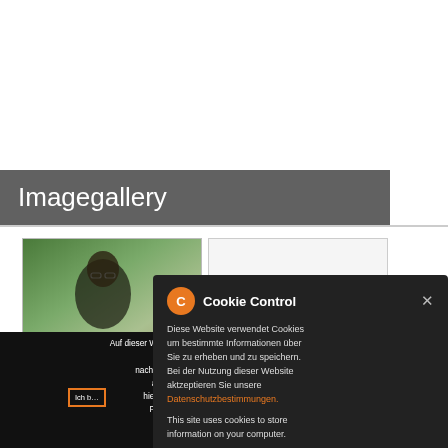Imagegallery
[Figure (photo): Two photo thumbnails side by side: left shows a person (man with glasses) in front of a colorful background; right is a blank/white placeholder thumbnail.]
Auf dieser Website wird das Facebook-Pixel von Facebook für stati... Hilfe eines Cookies kann so nachvoll... marketing maßnahmen auf Facebook aufgeno... nen. Über Ihr Einverständnis hierm... uen. Informationen zum „Facebook-Pixel" ...kustenenden Widerspruchsrecht ...Datenschutzerklärung
[Figure (screenshot): Cookie Control popup modal overlay with dark background. Contains orange gear/C icon, title 'Cookie Control', close X button. German text: 'Diese Website verwendet Cookies um bestimmte Informationen über Sie zu erheben und zu speichern. Bei der Nutzung dieser Website aktzeptieren Sie unsere Datenschutzbestimmungen.' English text: 'This site uses cookies to store information on your computer.' Footer links: 'About this tool' and 'read more'.]
Ich b... k-Pixels einverstanden
ich bin mit der Verw... acebook-Pixels nicht
einverstanden